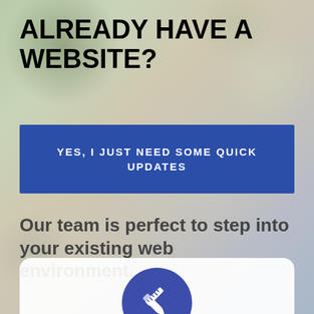ALREADY HAVE A WEBSITE?
YES, I JUST NEED SOME QUICK UPDATES
Our team is perfect to step into your existing web environment...
[Figure (illustration): Blue circle icon with a pen/pencil and ruler tool crossed, suggesting web editing/design services, displayed inside a white rounded card at the bottom of the page.]